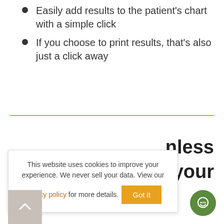Easily add results to the patient's chart with a simple click
If you choose to print results, that's also just a click away
nless your
This website uses cookies to improve your experience. We never sell your data. View our privacy policy for more details. Got it